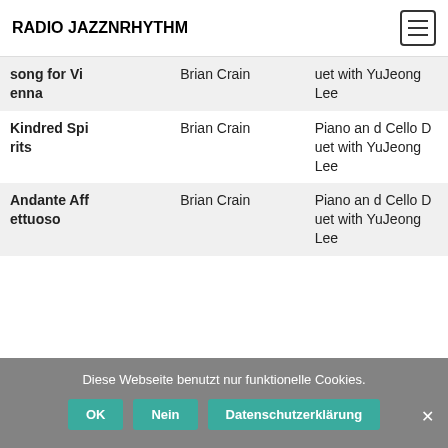RADIO JAZZNRHYTHM
| Song | Artist | Album |
| --- | --- | --- |
| Song for Vienna (partial) | Brian Crain | Duet with YuJeong Lee |
| Kindred Spirits | Brian Crain | Piano and Cello Duet with YuJeong Lee |
| Andante Affettuoso | Brian Crain | Piano and Cello Duet with YuJeong Lee |
Diese Webseite benutzt nur funktionelle Cookies.